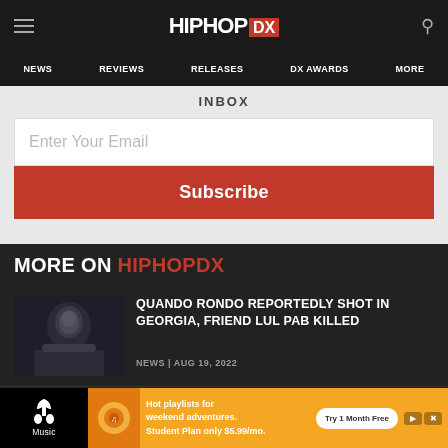HIPHOP DX — NEWS | REVIEWS | RELEASES | DX AWARDS | MORE
INBOX
Enter Your Email
Subscribe
MORE ON HIPHOPDX
[Figure (photo): Portrait of Quando Rondo in a hoodie, dark background]
QUANDO RONDO REPORTEDLY SHOT IN GEORGIA, FRIEND LUL PAB KILLED
NEWS | AUG 19, 2022
[Figure (photo): Partial dark photo, partially visible with HIGH text]
[Figure (other): Apple Music advertisement banner: Hot playlists for weekend adventures. Student Plan only $5.99/mo. Try 1 Month Free.]